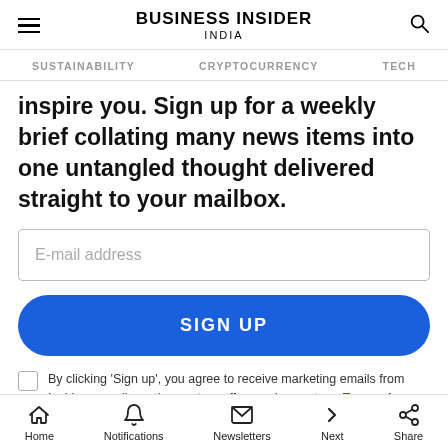BUSINESS INSIDER INDIA
SUSTAINABILITY   CRYPTOCURRENCY   TECH
inspire you. Sign up for a weekly brief collating many news items into one untangled thought delivered straight to your mailbox.
E-mail address
SIGN UP
By clicking 'Sign up', you agree to receive marketing emails from Insider as well as other partner offers and accept our Terms of Service and Privacy Policy
Home   Notifications   Newsletters   Next   Share